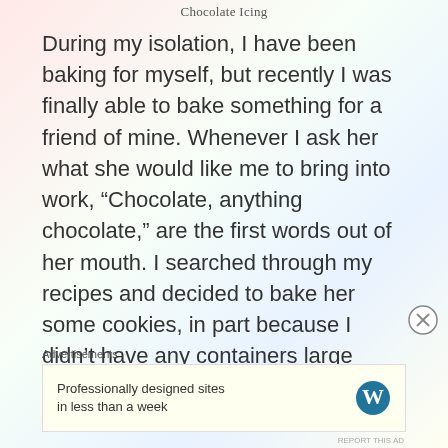Chocolate Icing
During my isolation, I have been baking for myself, but recently I was finally able to bake something for a friend of mine. Whenever I ask her what she would like me to bring into work, “Chocolate, anything chocolate,” are the first words out of her mouth. I searched through my recipes and decided to bake her some cookies, in part because I didn’t have any containers large
Advertisements
Professionally designed sites in less than a week